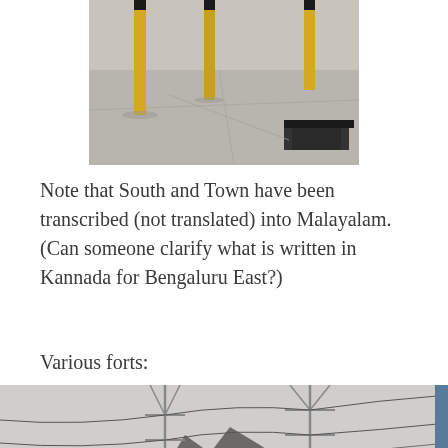[Figure (photo): Outdoor area with yellow and black bollard poles on a concrete surface, with a dark bench/equipment visible on the right side.]
Note that South and Town have been transcribed (not translated) into Malayalam. (Can someone clarify what is written in Kannada for Bengaluru East?)
Various forts:
[Figure (photo): Outdoor landscape photo showing electrical transmission towers with overhead wires, trees, and a distinctive rocky hill or mountain in the background under an overcast sky.]